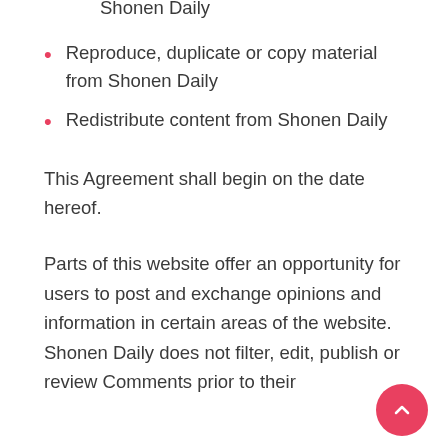Shonen Daily
Reproduce, duplicate or copy material from Shonen Daily
Redistribute content from Shonen Daily
This Agreement shall begin on the date hereof.
Parts of this website offer an opportunity for users to post and exchange opinions and information in certain areas of the website. Shonen Daily does not filter, edit, publish or review Comments prior to their